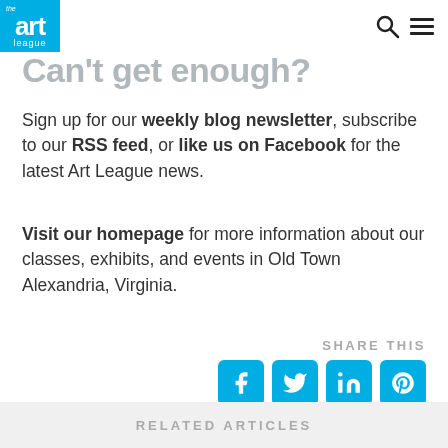the art league
Can't get enough?
Sign up for our weekly blog newsletter, subscribe to our RSS feed, or like us on Facebook for the latest Art League news.
Visit our homepage for more information about our classes, exhibits, and events in Old Town Alexandria, Virginia.
SHARE THIS
[Figure (infographic): Four social media share buttons: Facebook, Twitter, LinkedIn, Pinterest — each a cyan/blue square with white icon]
RELATED ARTICLES